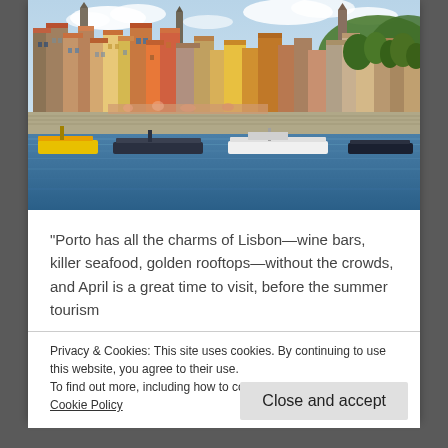[Figure (photo): Aerial/waterfront view of Porto (Oporto), Portugal, showing colorful buildings along the Douro river with boats in the foreground and church towers visible on the hillside. Bright daylight, clear sky.]
“Porto has all the charms of Lisbon—wine bars, killer seafood, golden rooftops—without the crowds, and April is a great time to visit, before the summer tourism
Privacy & Cookies: This site uses cookies. By continuing to use this website, you agree to their use.
To find out more, including how to control cookies, see here: Cookie Policy
Close and accept